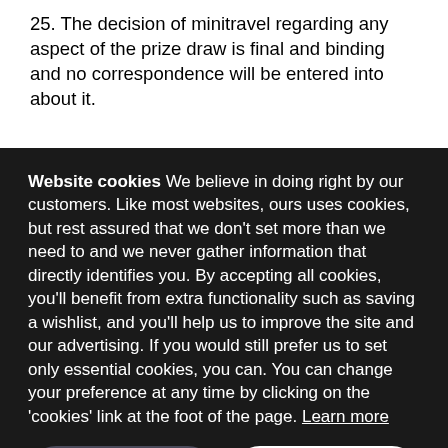25. The decision of minitravel regarding any aspect of the prize draw is final and binding and no correspondence will be entered into about it.
Website cookies We believe in doing right by our customers. Like most websites, ours uses cookies, but rest assured that we don't set more than we need to and we never gather information that directly identifies you. By accepting all cookies, you'll benefit from extra functionality such as saving a wishlist, and you'll help us to improve the site and our advertising. If you would still prefer us to set only essential cookies, you can. You can change your preference at any time by clicking on the 'cookies' link at the foot of the page. Learn more
Essential cookies only
Accept